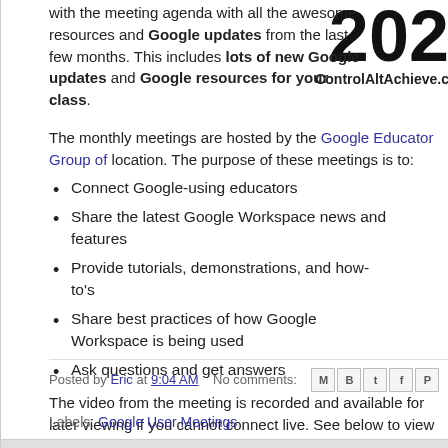with the meeting agenda with all the awesome resources and Google updates from the last few months. This includes lots of new Google updates and Google resources for your class.
[Figure (other): Large '202' number and 'ControlAltAchieve.c' text in top right corner]
The monthly meetings are hosted by the Google Educator Group of [location]. The purpose of these meetings is to:
Connect Google-using educators
Share the latest Google Workspace news and features
Provide tutorials, demonstrations, and how-to's
Share best practices of how Google Workspace is being used
Ask questions and get answers
The video from the meeting is recorded and available for later viewing if you cannot connect live. See below to view the recorded video, agenda, and all resources from this meeting:
Read more »
Posted by Eric at 9:04 AM   No comments:
Labels: Google User Meetings